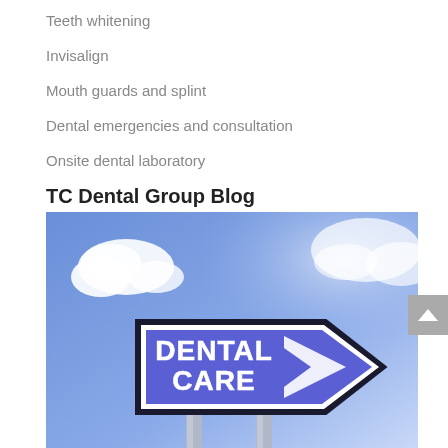Teeth whitening
Invisalign
Mouth guards and splint
Dental emergencies and consultation
Onsite dental laboratory
TC Dental Group Blog
[Figure (photo): A road sign reading 'DENTAL CARE' with an arrow pointing right, against a blue sky with clouds background.]